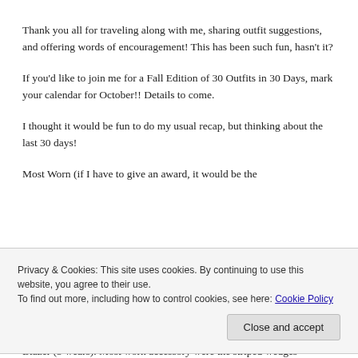Thank you all for traveling along with me, sharing outfit suggestions, and offering words of encouragement!  This has been such fun, hasn't it?
If you'd like to join me for a Fall Edition of 30 Outfits in 30 Days, mark your calendar for October!!  Details to come.
I thought it would be fun to do my usual recap, but thinking about the last 30 days!
Most Worn (if I have to give an award, it would be the...
Privacy & Cookies: This site uses cookies. By continuing to use this website, you agree to their use.
To find out more, including how to control cookies, see here: Cookie Policy
Close and accept
Blazer (5 wears).  Most worn accessory were the striped wedges